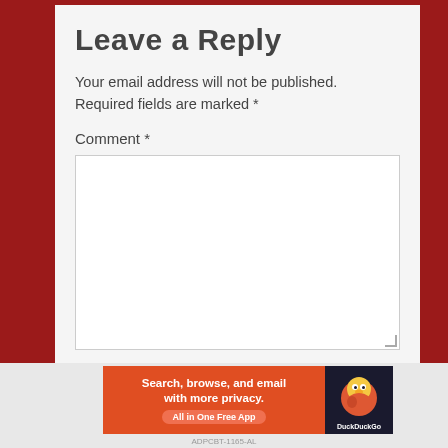Leave a Reply
Your email address will not be published. Required fields are marked *
Comment *
[Figure (screenshot): Empty comment textarea input box]
[Figure (screenshot): DuckDuckGo advertisement banner: Search, browse, and email with more privacy. All in One Free App]
Advertisements